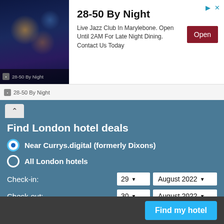[Figure (photo): Ad banner showing 28-50 By Night jazz club with restaurant interior photo, logo, title, description and Open button]
Find London hotel deals
Near Currys.digital (formerly Dixons)
All London hotels
Check-in: 29 ▼  August 2022 ▼
Check-out: 30 ▼  August 2022 ▼
Number of rooms: 1 room ▼
1: 2 adults ▼  0 children ▼  0 infants ▼
Find my hotel